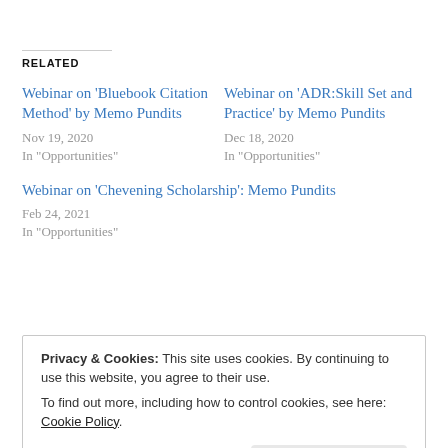RELATED
Webinar on 'Bluebook Citation Method' by Memo Pundits
Nov 19, 2020
In "Opportunities"
Webinar on 'ADR:Skill Set and Practice' by Memo Pundits
Dec 18, 2020
In "Opportunities"
Webinar on 'Chevening Scholarship': Memo Pundits
Feb 24, 2021
In "Opportunities"
Privacy & Cookies: This site uses cookies. By continuing to use this website, you agree to their use.
To find out more, including how to control cookies, see here: Cookie Policy
Close and accept